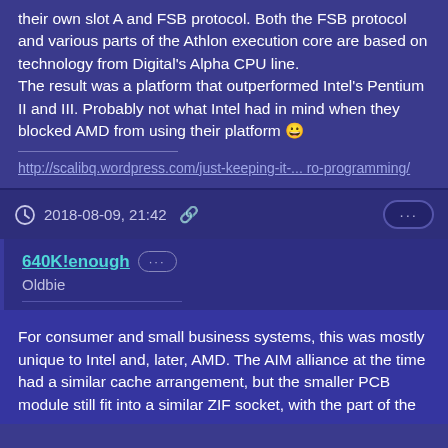their own slot A and FSB protocol. Both the FSB protocol and various parts of the Athlon execution core are based on technology from Digital's Alpha CPU line.
The result was a platform that outperformed Intel's Pentium II and III. Probably not what Intel had in mind when they blocked AMD from using their platform 😀
http://scalibq.wordpress.com/just-keeping-it-... ro-programming/
2018-08-09, 21:42
640K!enough
Oldbie
For consumer and small business systems, this was mostly unique to Intel and, later, AMD. The AIM alliance at the time had a similar cache arrangement, but the smaller PCB module still fit into a similar ZIF socket, with the part of the